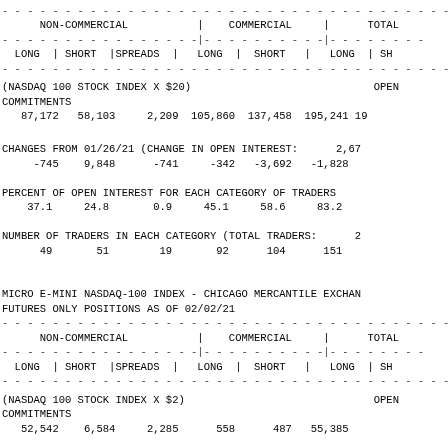| NON-COMMERCIAL (LONG) | NON-COMMERCIAL (SHORT) | SPREADS | COMMERCIAL (LONG) | COMMERCIAL (SHORT) | TOTAL (LONG) | TOTAL (SHORT) |
| --- | --- | --- | --- | --- | --- | --- |
| 87,172 | 58,103 | 2,209 | 105,860 | 137,458 | 195,241 | 19... |
| -745 | 9,848 | -741 | -342 | -3,692 | -1,828 |  |
| 37.1 | 24.8 | 0.9 | 45.1 | 58.6 | 83.2 |  |
| 49 | 51 | 19 | 92 | 104 | 151 |  |
(NASDAQ 100 STOCK INDEX X $20)
COMMITMENTS
CHANGES FROM 01/26/21 (CHANGE IN OPEN INTEREST: 2,67
PERCENT OF OPEN INTEREST FOR EACH CATEGORY OF TRADERS
NUMBER OF TRADERS IN EACH CATEGORY (TOTAL TRADERS: 2
MICRO E-MINI NASDAQ-100 INDEX - CHICAGO MERCANTILE EXCHANGE
FUTURES ONLY POSITIONS AS OF 02/02/21
| NON-COMMERCIAL (LONG) | NON-COMMERCIAL (SHORT) | SPREADS | COMMERCIAL (LONG) | COMMERCIAL (SHORT) | TOTAL (LONG) | TOTAL (SHORT) |
| --- | --- | --- | --- | --- | --- | --- |
| 52,542 | 6,584 | 2,285 | 558 | 487 | 55,385 |  |
(NASDAQ 100 STOCK INDEX X $2)
COMMITMENTS